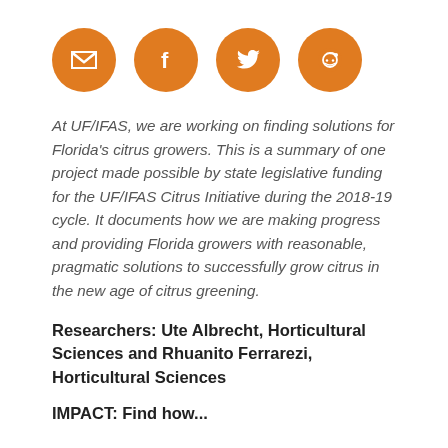[Figure (other): Four orange circular social media/sharing icons in a row: email/envelope, Facebook f, Twitter bird, Reddit alien]
At UF/IFAS, we are working on finding solutions for Florida's citrus growers. This is a summary of one project made possible by state legislative funding for the UF/IFAS Citrus Initiative during the 2018-19 cycle. It documents how we are making progress and providing Florida growers with reasonable, pragmatic solutions to successfully grow citrus in the new age of citrus greening.
Researchers: Ute Albrecht, Horticultural Sciences and Rhuanito Ferrarezi, Horticultural Sciences
IMPACT: Find how...